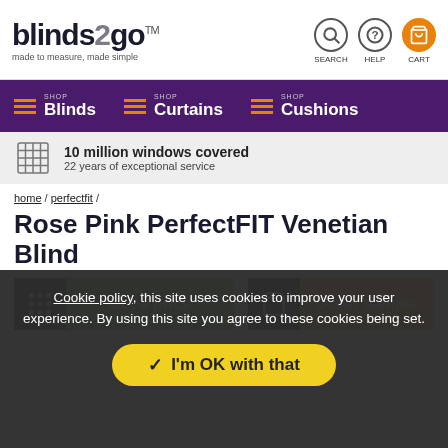blinds2go™ made to measure, made simple — SEARCH HELP CART
SHOP Blinds  SHOP Curtains  SHOP Cushions
10 million windows covered — 22 years of exceptional service
home / perfectfit /
Rose Pink PerfectFIT Venetian Blind
Get a price  |  Order sample
Cookie policy, this site uses cookies to improve your user experience. By using this site you agree to these cookies being set.
I'm OK with that